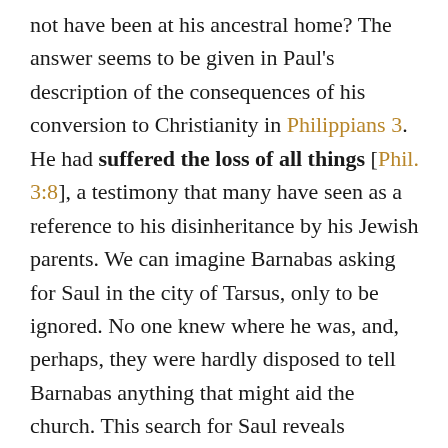not have been at his ancestral home? The answer seems to be given in Paul's description of the consequences of his conversion to Christianity in Philippians 3. He had suffered the loss of all things [Phil. 3:8], a testimony that many have seen as a reference to his disinheritance by his Jewish parents. We can imagine Barnabas asking for Saul in the city of Tarsus, only to be ignored. No one knew where he was, and, perhaps, they were hardly disposed to tell Barnabas anything that might aid the church. This search for Saul reveals something extraordinary about Barnabas. He discerned that the church was in need of gifts that he did not himself possess. He was willing to publicly admit that his own gifting was inadequate for the task ahead. What Barnabas knew of Paul in the decade that passed since his previous visit